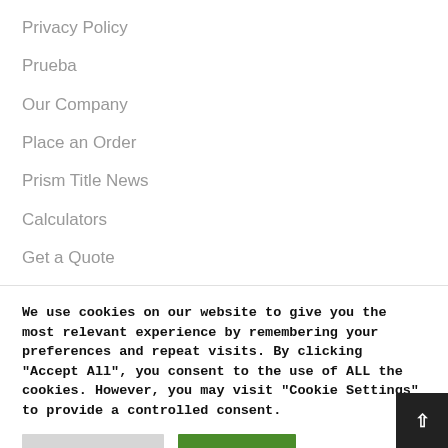Privacy Policy
Prueba
Our Company
Place an Order
Prism Title News
Calculators
Get a Quote
We use cookies on our website to give you the most relevant experience by remembering your preferences and repeat visits. By clicking “Accept All”, you consent to the use of ALL the cookies. However, you may visit “Cookie Settings” to provide a controlled consent.